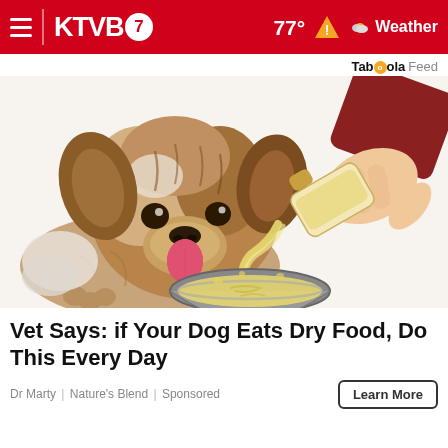KTVB7 | 77° Weather
Taboola Feed
[Figure (illustration): Illustration of a fluffy brown and white dog with tongue out, watching a hand pouring liquid from a glass bottle into a metal dog bowl.]
Vet Says: if Your Dog Eats Dry Food, Do This Every Day
Dr Marty | Nature's Blend | Sponsored
Learn More